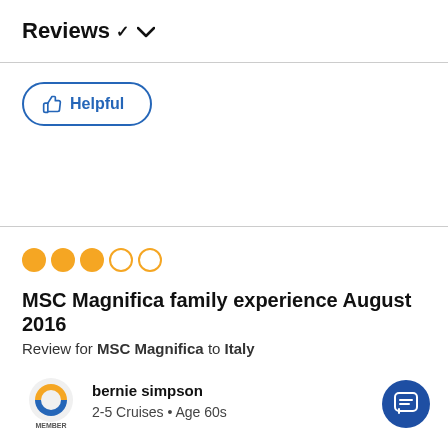Reviews ∨
[Figure (other): Helpful button with thumbs up icon, blue outlined rounded rectangle button]
[Figure (other): 3 filled orange circles and 2 empty orange circles representing a 3 out of 5 rating]
MSC Magnifica family experience August 2016
Review for MSC Magnifica to Italy
[Figure (logo): Cruise Critic member badge with orange and blue C logo and MEMBER text]
bernie simpson
2-5 Cruises • Age 60s